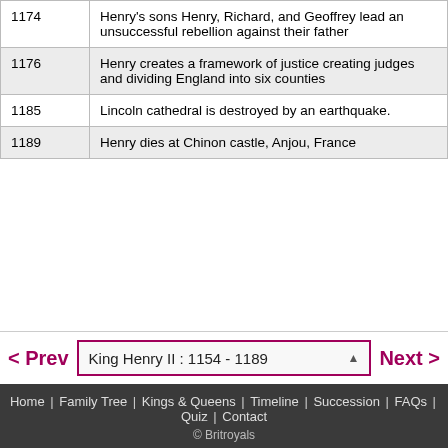| Year | Event |
| --- | --- |
| 1174 | Henry's sons Henry, Richard, and Geoffrey lead an unsuccessful rebellion against their father |
| 1176 | Henry creates a framework of justice creating judges and dividing England into six counties |
| 1185 | Lincoln cathedral is destroyed by an earthquake. |
| 1189 | Henry dies at Chinon castle, Anjou, France |
< Prev  King Henry II : 1154 - 1189  ▲  Next >  Home | Family Tree | Kings & Queens | Timeline | Succession | FAQs | Quiz | Contact  © Britroyals